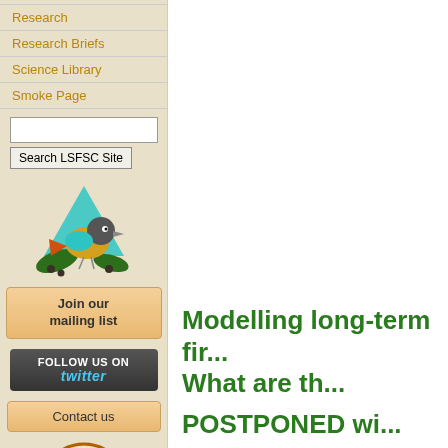Research
Research Briefs
Science Library
Smoke Page
[Figure (illustration): Colorful bird (warbler) with teal/blue triangle shape behind it, sitting on pine branches with pine cones]
Join our mailing list
FOLLOW US ON twitter
Contact us
[Figure (logo): Fire Science Program circular logo with fire and bear silhouette, partially visible at bottom of sidebar]
Modelling long-term fir... What are th...
POSTPONED wi...